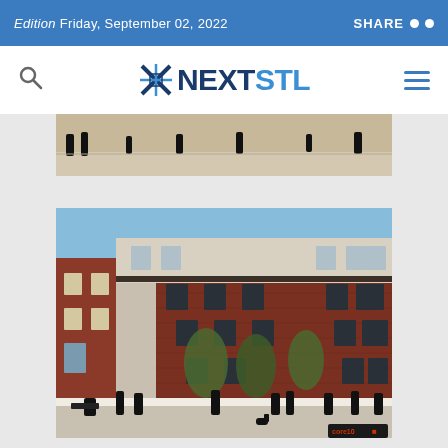Edition Friday, September 02, 2022
[Figure (logo): NextSTL website logo with search icon and hamburger menu]
[Figure (photo): Partial street-level architectural rendering showing silhouetted pedestrians walking along a modern urban streetscape]
[Figure (illustration): Architectural rendering of a multi-story mixed-use brick building with pedestrians in the foreground, trees along the sidewalk, blue sky background. Core10 Architecture watermark in corner.]